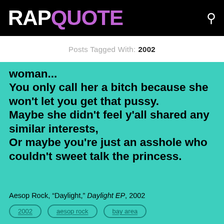RAPQUOTE
Posts Tagged With: 2002
woman...
You only call her a bitch because she won't let you get that pussy.
Maybe she didn't feel y'all shared any similar interests,
Or maybe you're just an asshole who couldn't sweet talk the princess.
Aesop Rock, "Daylight," Daylight EP, 2002
2002
aesop rock
bay area